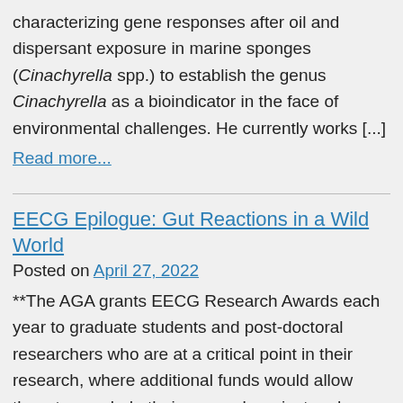characterizing gene responses after oil and dispersant exposure in marine sponges (Cinachyrella spp.) to establish the genus Cinachyrella as a bioindicator in the face of environmental challenges. He currently works [...]
Read more...
EECG Epilogue: Gut Reactions in a Wild World
Posted on April 27, 2022
**The AGA grants EECG Research Awards each year to graduate students and post-doctoral researchers who are at a critical point in their research, where additional funds would allow them to conclude their research project and prepare it for publication. EECG awardees also get the opportunity to hone their science communication and